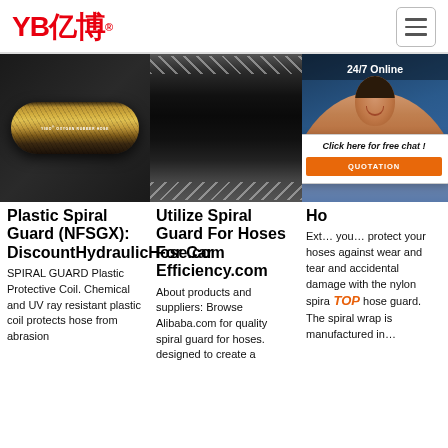YB亿博® — navigation header with hamburger menu
[Figure (photo): YIBO OXYGEN RUBBER HOSE product photo — a black rubber hose with gold metallic braided ends]
[Figure (photo): Close-up of a black spiral guard or reinforced hydraulic hose with braided wire weave pattern]
[Figure (photo): 24/7 Online customer service agent — smiling woman with headset; 'Click here for free chat!' popup with orange QUOTATION button]
Plastic Spiral Guard (NFSGX): DiscountHydraulicHose.com
SPIRAL GUARD Plastic Protective Coil. Chemical and UV ray resistant plastic coil protects hose from abrasion
Utilize Spiral Guard For Hoses For Car Efficiency.com
About products and suppliers: Browse Alibaba.com for quality spiral guard for hoses. designed to create a
Ho…
Ext… you… protect your hoses against wear and tear and accidental damage with the nylon spiral hose guard. The spiral wrap is manufactured in…